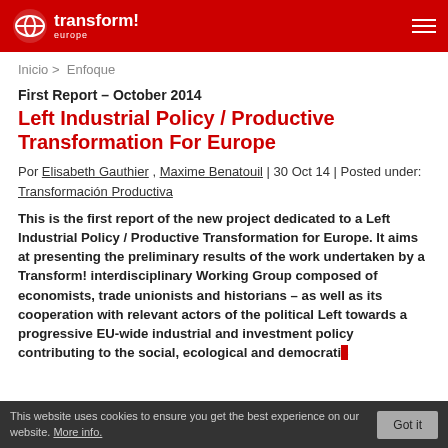transform! europe
Inicio > Enfoque
First Report – October 2014
Left Industrial Policy / Productive Transformation For Europe
Por Elisabeth Gauthier , Maxime Benatouil | 30 Oct 14 | Posted under: Transformación Productiva
This is the first report of the new project dedicated to a Left Industrial Policy / Productive Transformation for Europe. It aims at presenting the preliminary results of the work undertaken by a Transform! interdisciplinary Working Group composed of economists, trade unionists and historians – as well as its cooperation with relevant actors of the political Left towards a progressive EU-wide industrial and investment policy contributing to the social, ecological and democratic...
This website uses cookies to ensure you get the best experience on our website. More info.